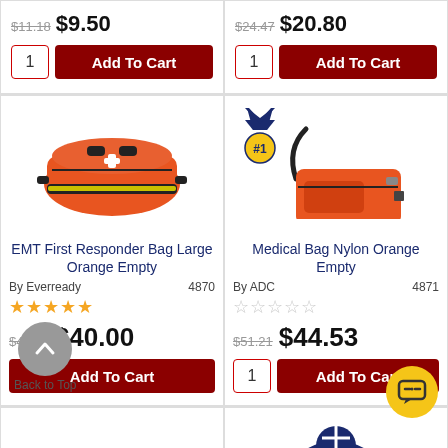$11.18  $9.50
$24.47  $20.80
Add To Cart
Add To Cart
[Figure (photo): Orange EMT First Responder large duffel bag]
[Figure (photo): Orange Medical Bag Nylon with shoulder strap, #1 medal badge overlay]
EMT First Responder Bag Large Orange Empty
Medical Bag Nylon Orange Empty
By Everready   4870
By ADC   4871
★★★★★
☆☆☆☆☆
$49.67  $40.00
$51.21  $44.53
Add To Cart
Add To Cart
Back to Top